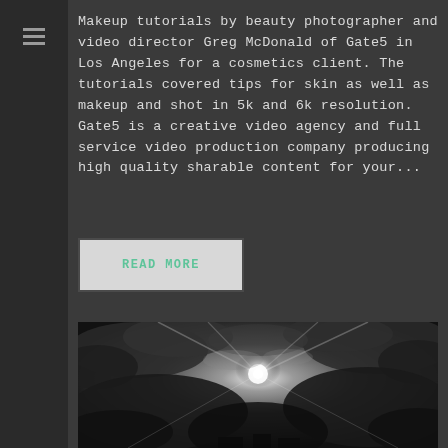Makeup tutorials by beauty photographer and video director Greg McDonald of Gate5 in Los Angeles for a cosmetics client. The tutorials covered tips for skin as well as makeup and shot in 5k and 6k resolution. Gate5 is a creative video agency and full service video production company producing high quality sharable content for your...
READ MORE
[Figure (photo): Black and white photograph of a dramatic cloudy sky with sunlight breaking through the clouds]